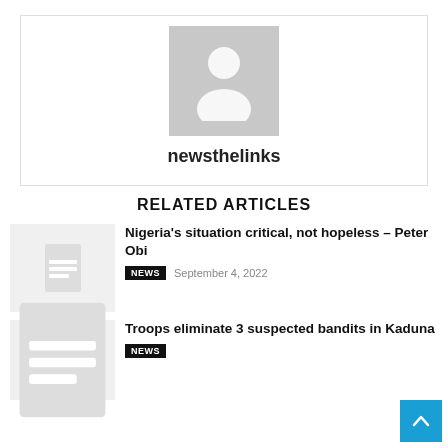[Figure (illustration): User profile avatar placeholder - grey silhouette of a person on grey background]
newsthelinks
RELATED ARTICLES
[Figure (illustration): Article thumbnail placeholder with document icon]
Nigeria’s situation critical, not hopeless – Peter Obi
NEWS   September 4, 2022
[Figure (illustration): Article thumbnail placeholder with document icon]
Troops eliminate 3 suspected bandits in Kaduna